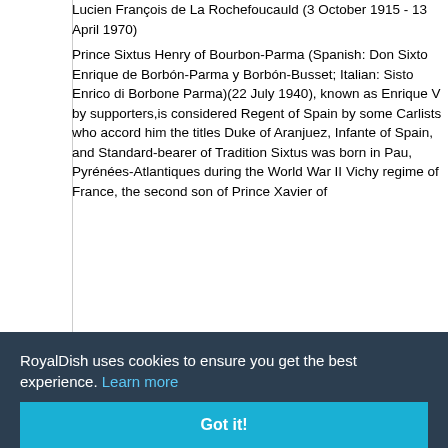Lucien François de La Rochefoucauld (3 October 1915 - 13 April 1970)
Prince Sixtus Henry of Bourbon-Parma (Spanish: Don Sixto Enrique de Borbón-Parma y Borbón-Busset; Italian: Sisto Enrico di Borbone Parma)(22 July 1940), known as Enrique V by supporters,is considered Regent of Spain by some Carlists who accord him the titles Duke of Aranjuez, Infante of Spain, and Standard-bearer of Tradition Sixtus was born in Pau, Pyrénées-Atlantiques during the World War II Vichy regime of France, the second son of Prince Xavier of ...regent, ...one of ...na) and ... ...ranch of ...nce (and ...House of ...endent ...59, and Luxembourg. In exile, his family lived in
RoyalDish uses cookies to ensure you get the best experience. Learn more
Got it!